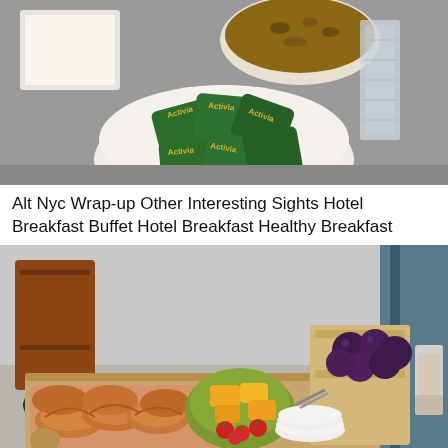[Figure (photo): Overhead view of breakfast buffet items including bowls of granola, Activia yogurt packets in a white bowl, and a stack of clear plastic cups on a metal surface.]
Alt Nyc Wrap-up Other Interesting Sights Hotel Breakfast Buffet Hotel Breakfast Healthy Breakfast
[Figure (photo): Outdoor hotel breakfast buffet spread showing croissants and pastries on a wooden board, a bowl of mixed fruits (mango, papaya, strawberries), dark plums in a wooden tray, and glasses of yogurt parfait, with a rolling cart in the background.]